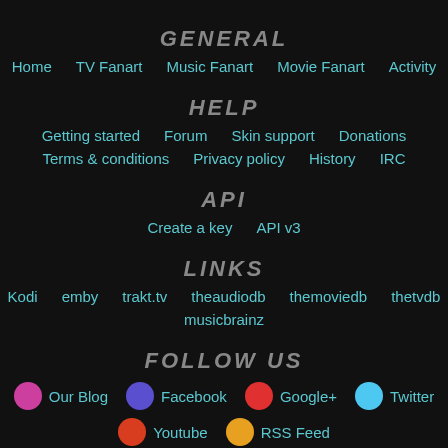GENERAL
Home    TV Fanart    Music Fanart    Movie Fanart    Activity
HELP
Getting started    Forum    Skin support    Donations
Terms & conditions    Privacy policy    History    IRC
API
Create a key    API v3
LINKS
Kodi    emby    trakt.tv    theaudiodb    themoviedb    thetvdb
musicbrainz
FOLLOW US
Our Blog    Facebook    Google+    Twitter    Youtube    RSS Feed